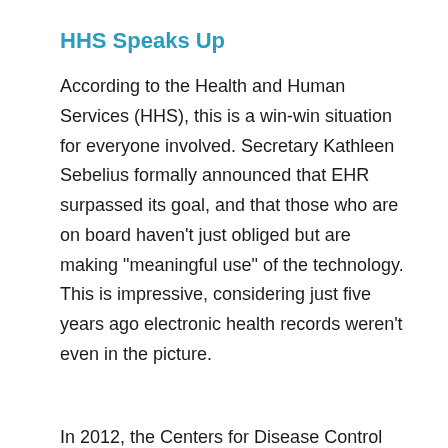HHS Speaks Up
According to the Health and Human Services (HHS), this is a win-win situation for everyone involved. Secretary Kathleen Sebelius formally announced that EHR surpassed its goal, and that those who are on board haven’t just obliged but are making “meaningful use” of the technology. This is impressive, considering just five years ago electronic health records weren’t even in the picture.
In 2012, the Centers for Disease Control (CDC) conducted a survey and it was